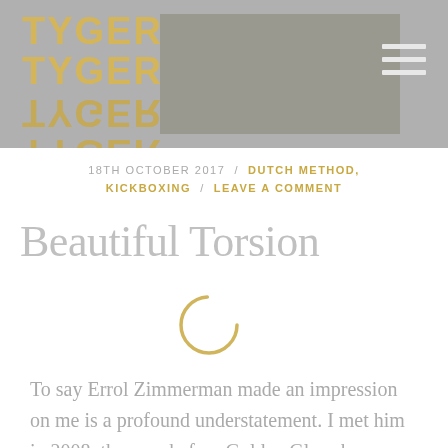TYGER TYGER — navigation header with logo and hamburger menu
18TH OCTOBER 2017 / DUTCH METHOD, KICKBOXING / LEAVE A COMMENT
Beautiful Torsion
[Figure (other): Loading spinner circle in gold/amber color]
To say Errol Zimmerman made an impression on me is a profound understatement. I met him in 2008, the year before Golden Glory became the most famous – and fearsome – fight gym in the world.